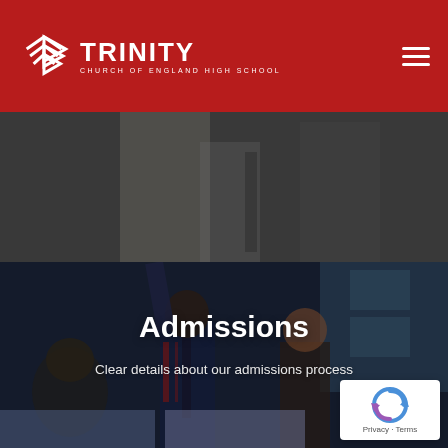Trinity Church of England High School
[Figure (photo): Hero background photo showing students in school uniforms in a classroom setting, with a dark overlay. Upper portion shows students at desks. Lower portion shows students with hands raised, wearing blazers and ties with red accents.]
Admissions
Clear details about our admissions process